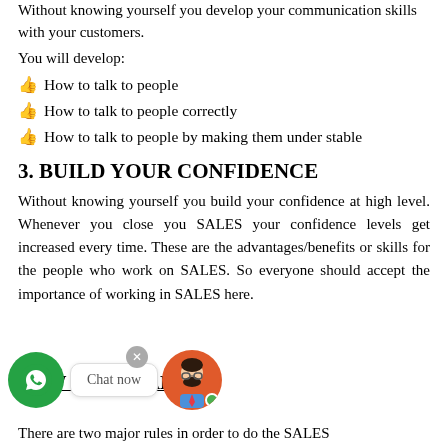Without knowing yourself you develop your communication skills with your customers.
You will develop:
How to talk to people
How to talk to people correctly
How to talk to people by making them under stable
3. BUILD YOUR CONFIDENCE
Without knowing yourself you build your confidence at high level. Whenever you close you SALES your confidence levels get increased every time. These are the advantages/benefits or skills for the people who work on SALES. So everyone should accept the importance of working in SALES here.
HOW TO DO SALES?
There are two major rules in order to do the SALES